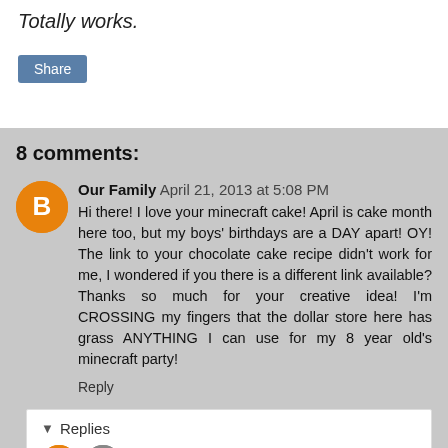Totally works.
Share
8 comments:
Our Family  April 21, 2013 at 5:08 PM
Hi there! I love your minecraft cake! April is cake month here too, but my boys' birthdays are a DAY apart! OY! The link to your chocolate cake recipe didn't work for me, I wondered if you there is a different link available? Thanks so much for your creative idea! I'm CROSSING my fingers that the dollar store here has grass ANYTHING I can use for my 8 year old's minecraft party!
Reply
Replies
Unknown  April 21, 2013 at 11:59 PM